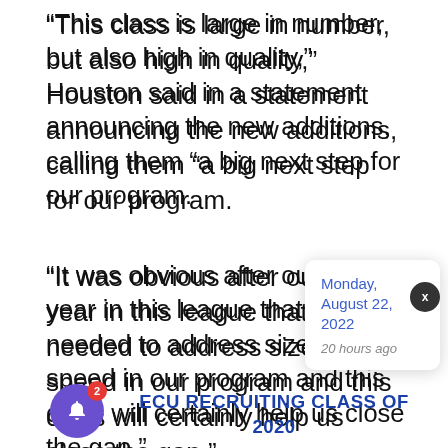“This class is large in number, but also high in quality,” Houston said in a statement announcing the new additions, calling them “a big next step for our program.
“It was obvious after our first year in this league that we needed to address size and speed in our program and this class will certainly help us close the gap.”
How much and how soon that will happen will only be known in time.
As Christmas presents go, Houston and an anxious fan base can only hope that this recruiting class of 2020 is the gif…
Monday, August 22, 2022
20 hours ago
ECU RECRUITING CLASS OF 2020